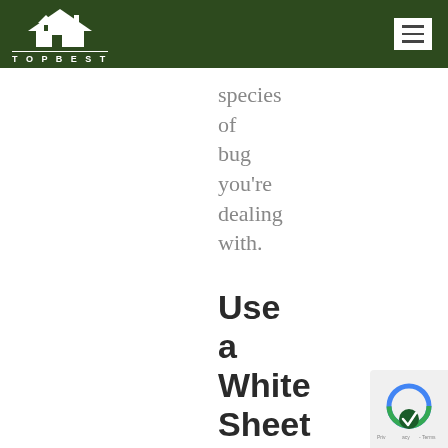TOPBEST
species of bug you're dealing with.
Use a White Sheet